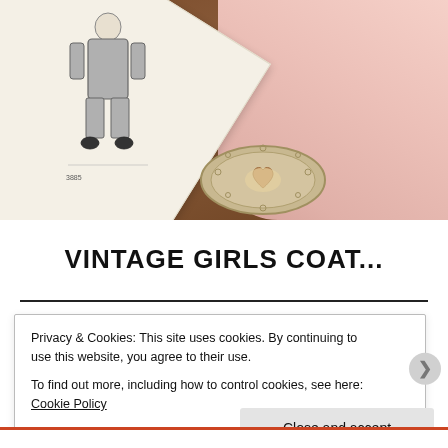[Figure (photo): A vintage sewing pattern booklet showing a girl in a coat, lying on a wooden surface next to pink fabric and a decorative plate with a heart design.]
VINTAGE GIRLS COAT...
Privacy & Cookies: This site uses cookies. By continuing to use this website, you agree to their use.
To find out more, including how to control cookies, see here: Cookie Policy
Close and accept